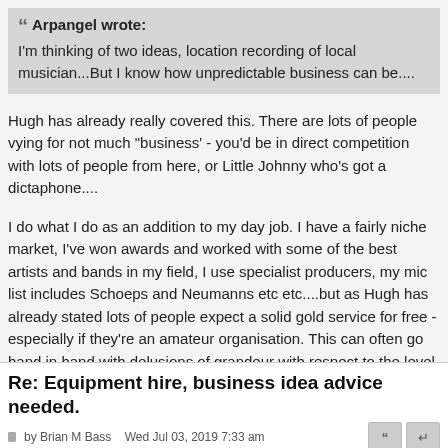Arpangel wrote: I'm thinking of two ideas, location recording of local musician...But I know how unpredictable business can be....
Hugh has already really covered this. There are lots of people vying for not much "business' - you'd be in direct competition with lots of people from here, or Little Johnny who's got a dictaphone....
I do what I do as an addition to my day job. I have a fairly niche market, I've won awards and worked with some of the best artists and bands in my field, I use specialist producers, my mic list includes Schoeps and Neumanns etc etc....but as Hugh has already stated lots of people expect a solid gold service for free - especially if they're an amateur organisation. This can often go hand in hand with delusions of grandeur with respect to the level of their performance. The bottom line is that people (quite often) don't want to pay anything, let alone anything near 'commercial' rates....so they go elsewhere...YMMV, of course.
It's quite a depressing state of affairs, but sadly fairly real.
Re: Equipment hire, business idea advice needed.
by Brian M Bass   Wed Jul 03, 2019 7:33 am